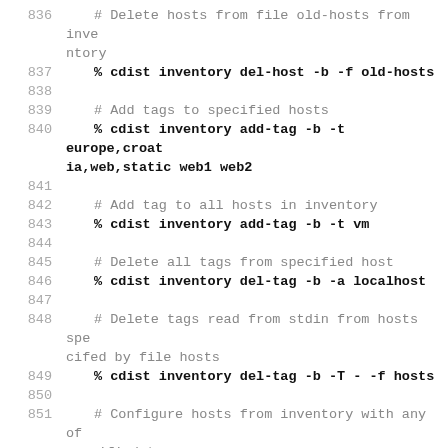836    # Delete hosts from file old-hosts from inventory
837        % cdist inventory del-host -b -f old-hosts
838
839        # Add tags to specified hosts
840        % cdist inventory add-tag -b -t europe,croatia,web,static web1 web2
841
842        # Add tag to all hosts in inventory
843        % cdist inventory add-tag -b -t vm
844
845        # Delete all tags from specified host
846        % cdist inventory del-tag -b -a localhost
847
848        # Delete tags read from stdin from hosts specified by file hosts
849        % cdist inventory del-tag -b -T - -f hosts
850
851        # Configure hosts from inventory with any of specified tags
852        % cdist config -b -t web dynamic
853
854        # Configure hosts from inventory with all sp